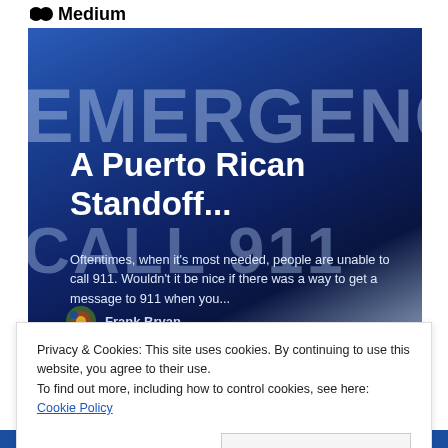Medium
[Figure (photo): Blue emergency sign background with 'EMERGENCY' and 'CALL 911' text, overlaid with article title and excerpt]
A Puerto Rican Standoff...
Oftentimes, when it's most needed, people are unable to call 911. Wouldn't it be nice if there was a way to get a message to 911 when you...
Frank Bryan
Privacy & Cookies: This site uses cookies. By continuing to use this website, you agree to their use.
To find out more, including how to control cookies, see here: Cookie Policy
Close and accept